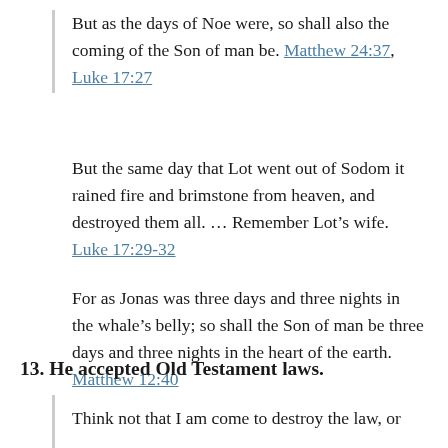But as the days of Noe were, so shall also the coming of the Son of man be. Matthew 24:37, Luke 17:27
But the same day that Lot went out of Sodom it rained fire and brimstone from heaven, and destroyed them all. … Remember Lot’s wife. Luke 17:29-32
For as Jonas was three days and three nights in the whale’s belly; so shall the Son of man be three days and three nights in the heart of the earth. Matthew 12:40
13. He accepted Old Testament laws.
Think not that I am come to destroy the law, or